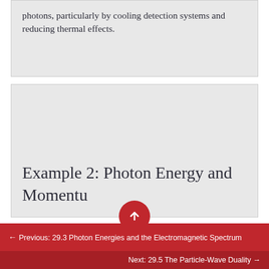photons, particularly by cooling detection systems and reducing thermal effects.
Example 2: Photon Energy and Momentum
← Previous: 29.3 Photon Energies and the Electromagnetic Spectrum
Next: 29.5 The Particle-Wave Duality →